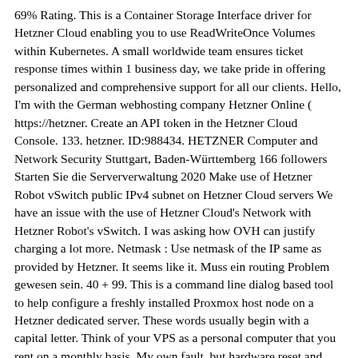69% Rating. This is a Container Storage Interface driver for Hetzner Cloud enabling you to use ReadWriteOnce Volumes within Kubernetes. A small worldwide team ensures ticket response times within 1 business day, we take pride in offering personalized and comprehensive support for all our clients. Hello, I'm with the German webhosting company Hetzner Online ( https://hetzner. Create an API token in the Hetzner Cloud Console. 133. hetzner. ID:988434. HETZNER Computer and Network Security Stuttgart, Baden-Württemberg 166 followers Starten Sie die Serververwaltung 2020 Make use of Hetzner Robot vSwitch public IPv4 subnet on Hetzner Cloud servers We have an issue with the use of Hetzner Cloud's Network with Hetzner Robot's vSwitch. I was asking how OVH can justify charging a lot more. Netmask : Use netmask of the IP same as provided by Hetzner. It seems like it. Muss ein routing Problem gewesen sein. 40 + 99. This is a command line dialog based tool to help configure a freshly installed Proxmox host node on a Hetzner dedicated server. These words usually begin with a capital letter. Think of your VPS as a personal computer that you rent on a monthly basis. My own fault, but hardware reset and WOL might do what you expect depending on the hardware. From a blockchain-security PoV this is the same as customers-managed mining. 96 GHz 1 Processor, 8 Cores, 16 Threads Processor ID: AuthenticAMD Family 23 Model 113 Stepping 0: AuthenticAMD Family 23 Model 113 . Hetzner shaded withdrawal policy? You tell me. Industriestraße 25, 91710